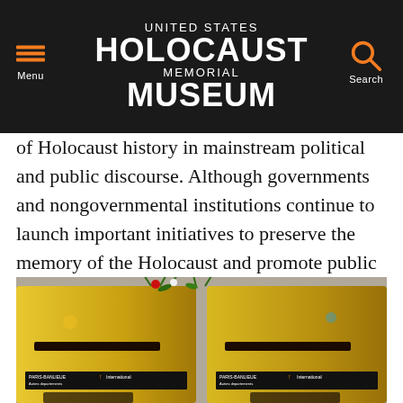UNITED STATES HOLOCAUST MEMORIAL MUSEUM
of Holocaust history in mainstream political and public discourse. Although governments and nongovernmental institutions continue to launch important initiatives to preserve the memory of the Holocaust and promote public awareness and education about it, the current trend threatens decades of progress.
[Figure (photo): Two yellow French La Poste mailboxes with flowers placed on top. Stickers and graffiti decorate the boxes. Labels read PARIS-BANLIEUE and Autres departements / International.]